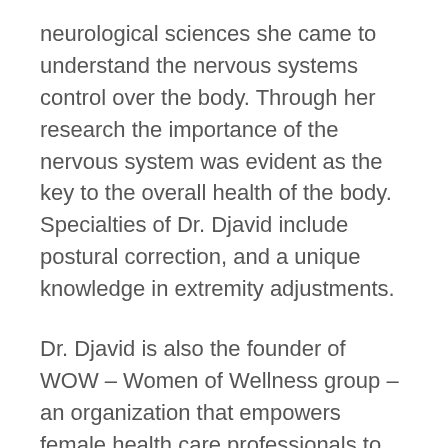neurological sciences she came to understand the nervous systems control over the body. Through her research the importance of the nervous system was evident as the key to the overall health of the body. Specialties of Dr. Djavid include postural correction, and a unique knowledge in extremity adjustments.
Dr. Djavid is also the founder of WOW – Women of Wellness group – an organization that empowers female health care professionals to build healthy caring relationships through education and integrated health and wellness services.
With a state of the art facility at her disposal,